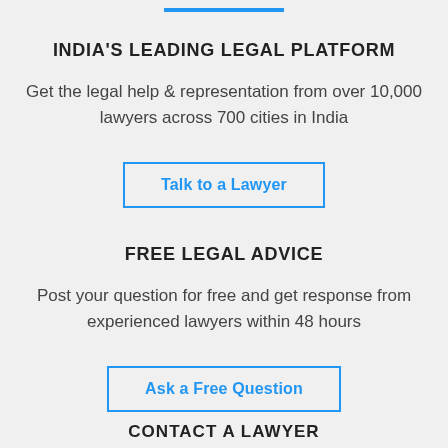[Figure (other): Blue horizontal decorative bar/underline at top of page]
INDIA'S LEADING LEGAL PLATFORM
Get the legal help & representation from over 10,000 lawyers across 700 cities in India
Talk to a Lawyer
FREE LEGAL ADVICE
Post your question for free and get response from experienced lawyers within 48 hours
Ask a Free Question
CONTACT A LAWYER